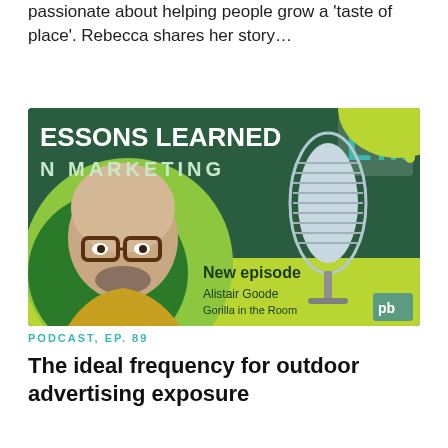passionate about helping people grow a 'taste of place'. Rebecca shares her story…
[Figure (illustration): Podcast episode card for 'Lessons Learned in Marketing' - New episode featuring Alistair Goode, Gorilla in the Room. Shows a bald man with glasses and beard on left, large vintage microphone on right, green background with yellow/lime accent shapes. Logo 'LM' in top right corner, 'pb' watermark in bottom right.]
PODCAST, EP. 89
The ideal frequency for outdoor advertising exposure